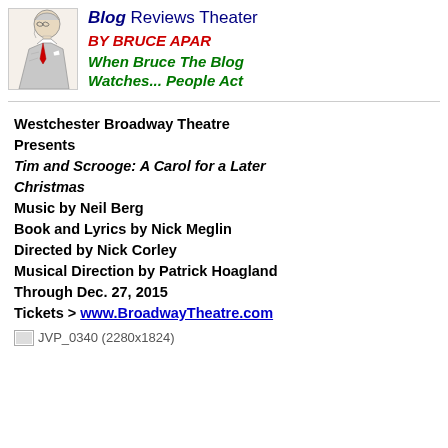[Figure (illustration): Illustrated portrait of a person in profile, looking left, wearing glasses and a jacket]
Blog Reviews Theater BY BRUCE APAR When Bruce The Blog Watches... People Act
Westchester Broadway Theatre Presents
Tim and Scrooge: A Carol for a Later Christmas
Music by Neil Berg
Book and Lyrics by Nick Meglin
Directed by Nick Corley
Musical Direction by Patrick Hoagland
Through Dec. 27, 2015
Tickets > www.BroadwayTheatre.com
[Figure (photo): JVP_0340 (2280x1824) — placeholder image]